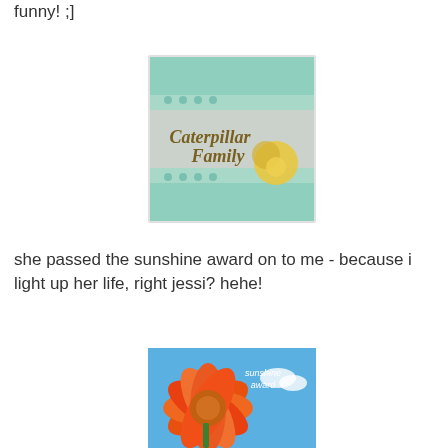funny! ;]
[Figure (illustration): Caterpillar Family blog badge - teal damask pattern background with grey banner, text 'Caterpillar Family' in brown/gold script, yellow rose decoration]
she passed the sunshine award on to me - because i light up her life, right jessi? hehe!
[Figure (illustration): Sunshine award badge - orange gerbera daisy flower against blue sky, text 'sunshine award' in top right corner]